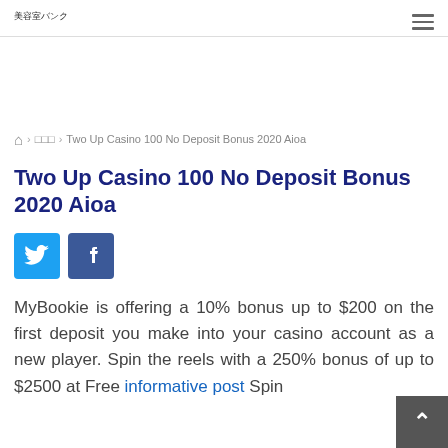美容室バンク
ホーム > □□□ > Two Up Casino 100 No Deposit Bonus 2020 Aioa
Two Up Casino 100 No Deposit Bonus 2020 Aioa
[Figure (other): Twitter and Facebook share buttons]
MyBookie is offering a 10% bonus up to $200 on the first deposit you make into your casino account as a new player. Spin the reels with a 250% bonus of up to $2500 at Free informative post Spin